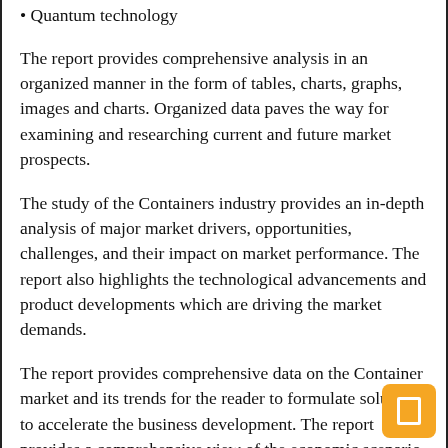• Quantum technology
The report provides comprehensive analysis in an organized manner in the form of tables, charts, graphs, images and charts. Organized data paves the way for examining and researching current and future market prospects.
The study of the Containers industry provides an in-depth analysis of major market drivers, opportunities, challenges, and their impact on market performance. The report also highlights the technological advancements and product developments which are driving the market demands.
The report provides comprehensive data on the Container market and its trends for the reader to formulate solutions to accelerate the business development. The report provides a comprehensive view of the economic scenario of the market along with its advantages and disadvantages.
The Container Market report includes production chain analysis and value chain analysis to give a comprehensive